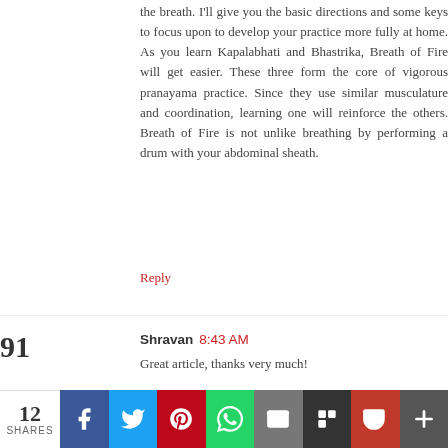the breath. I'll give you the basic directions and some keys to focus upon to develop your practice more fully at home. As you learn Kapalabhati and Bhastrika, Breath of Fire will get easier. These three form the core of vigorous pranayama practice. Since they use similar musculature and coordination, learning one will reinforce the others. Breath of Fire is not unlike breathing by performing a drum with your abdominal sheath.
Reply
Shravan 8:43 AM
Great article, thanks very much!
Reply
Anonymous 9:34 AM
It cleanses the respiratory system and the nasal
12 SHARES  f  t  P  W  [mail]  [flip]  [pocket]  +